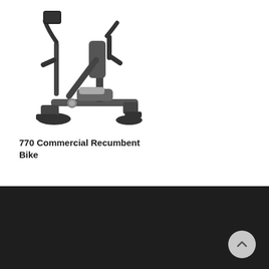[Figure (photo): Photo of a 770 Commercial Recumbent Bike — a dark gray exercise bike with a reclined seat, handles, and console display]
770 Commercial Recumbent Bike
FOLLOW US
Home
About Us